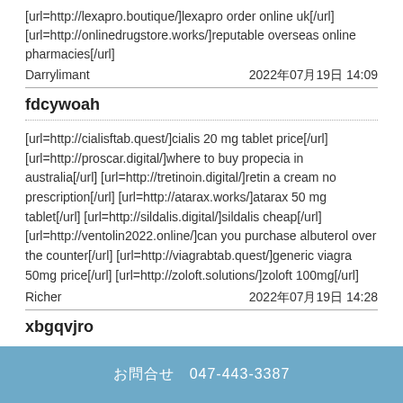[url=http://lexapro.boutique/]lexapro order online uk[/url] [url=http://onlinedrugstore.works/]reputable overseas online pharmacies[/url]
Darrylimant  2022年07月19日 14:09
fdcywoah
[url=http://cialisftab.quest/]cialis 20 mg tablet price[/url] [url=http://proscar.digital/]where to buy propecia in australia[/url] [url=http://tretinoin.digital/]retin a cream no prescription[/url] [url=http://atarax.works/]atarax 50 mg tablet[/url] [url=http://sildalis.digital/]sildalis cheap[/url] [url=http://ventolin2022.online/]can you purchase albuterol over the counter[/url] [url=http://viagrabtab.quest/]generic viagra 50mg price[/url] [url=http://zoloft.solutions/]zoloft 100mg[/url]
Richer  2022年07月19日 14:28
xbgqvjro
お問合せ  047-443-3387